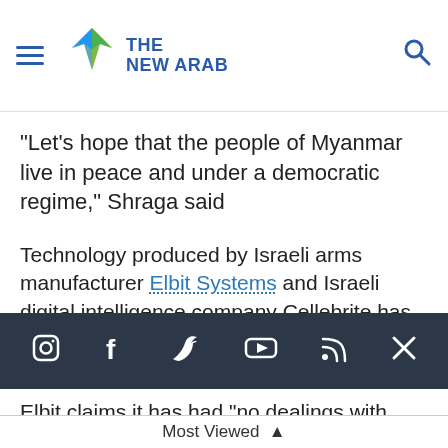The New Arab
"Let's hope that the people of Myanmar live in peace and under a democratic regime," Shraga said
Technology produced by Israeli arms manufacturer Elbit Systems and Israeli digital intelligence company Cellebrite has also been purchased by Myanmar, the NYT review of Burmese budget
[Figure (other): Social media icon bar with Instagram, Facebook, Twitter, YouTube, RSS, and close (X) icons on dark background]
Elbit claims it has had "no dealings with Myanmar since 2015 or 2016" but spare parts for military-grade surveillance drones produced by the
Most Viewed ▲